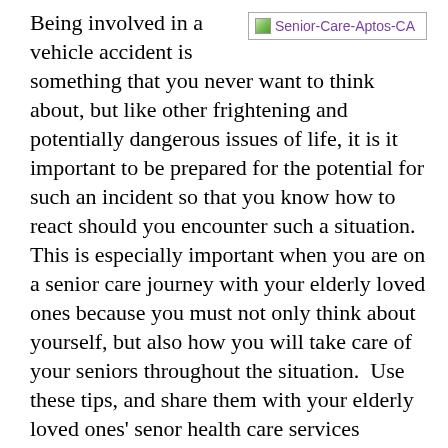Being involved in a vehicle accident is something that you never want to think about, but like other frightening and potentially dangerous issues of life, it is it important to be prepared for the potential for such an incident so that you know how to react should you encounter such a situation. This is especially important when you are on a senior care journey with your elderly loved ones because you must not only think about yourself, but also how you will take care of your seniors throughout the situation.  Use these tips, and share them with your elderly loved ones' senor health care services provider, to prepare you for prompt
[Figure (other): Broken image placeholder with alt text 'Senior-Care-Aptos-CA' shown in purple text with small image icon]